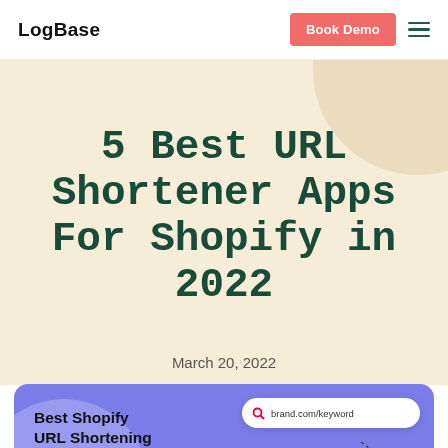LogBase | Book Demo
5 Best URL Shortener Apps For Shopify in 2022
March 20, 2022
[Figure (illustration): Article hero card with purple background showing 'Best Shopify URL Shortening Apps' text on the left and a phone/browser mockup showing brand.com/keyword on the right]